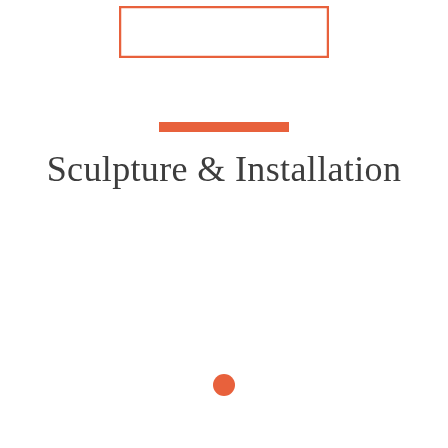[Figure (other): Orange/coral rectangle outline (border only, no fill) centered near the top of the page]
[Figure (other): Short orange/coral horizontal bar (filled rectangle) centered below the rectangle outline]
Sculpture & Installation
[Figure (other): Small orange/coral filled circle centered in the lower portion of the page]